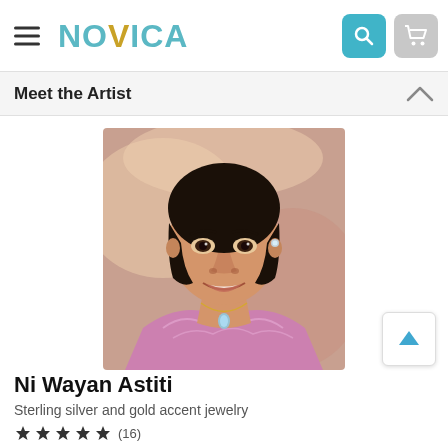NOVICA
Meet the Artist
[Figure (photo): Portrait photo of Ni Wayan Astiti, a woman wearing a pink lace blouse and a gold necklace, smiling at the camera]
Ni Wayan Astiti
Sterling silver and gold accent jewelry